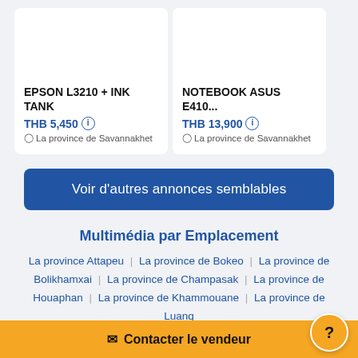EPSON L3210 + INK TANK | THB 5,450 | La province de Savannakhet
NOTEBOOK ASUS E410... | THB 13,900 | La province de Savannakhet
Voir d'autres annonces semblables
Multimédia par Emplacement
La province Attapeu | La province de Bokeo | La province de Bolikhamxai | La province de Champasak | La province de Houaphan | La province de Khammouane | La province de Luang Namtha | La province de Luang Prabang | La province de
Contacter le vendeur